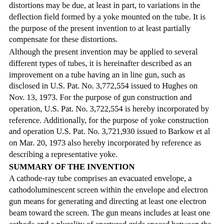distortions may be due, at least in part, to variations in the deflection field formed by a yoke mounted on the tube. It is the purpose of the present invention to at least partially compensate for these distortions.
Although the present invention may be applied to several different types of tubes, it is hereinafter described as an improvement on a tube having an in line gun, such as disclosed in U.S. Pat. No. 3,772,554 issued to Hughes on Nov. 13, 1973. For the purpose of gun construction and operation, U.S. Pat. No. 3,722,554 is hereby incorporated by reference. Additionally, for the purpose of yoke construction and operation U.S. Pat. No. 3,721,930 issued to Barkow et al on Mar. 20, 1973 also hereby incorporated by reference as describing a representative yoke.
SUMMARY OF THE INVENTION
A cathode-ray tube comprises an evacuated envelope, a cathodoluminescent screen within the envelope and electron gun means for generating and directing at least one electron beam toward the screen. The gun means includes at least one cathode and a plurality of apertured grids spaced between the cathode and screen. At least one of the apertured grids has extensions located on opposite sides of an aperture therein. These extensions cause distortion of the